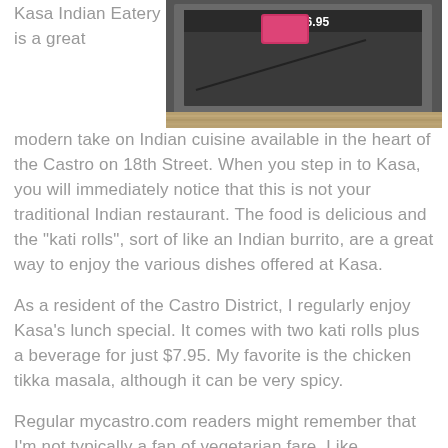[Figure (photo): Photo of a menu or price sign showing $6.95 at a restaurant, with a pink/magenta colored item visible, shot from above on a dark surface]
Kasa Indian Eatery is a great modern take on Indian cuisine available in the heart of the Castro on 18th Street. When you step in to Kasa, you will immediately notice that this is not your traditional Indian restaurant. The food is delicious and the "kati rolls", sort of like an Indian burrito, are a great way to enjoy the various dishes offered at Kasa.
As a resident of the Castro District, I regularly enjoy Kasa's lunch special. It comes with two kati rolls plus a beverage for just $7.95. My favorite is the chicken tikka masala, although it can be very spicy.
Regular mycastro.com readers might remember that I'm not typically a fan of vegetarian fare. Like